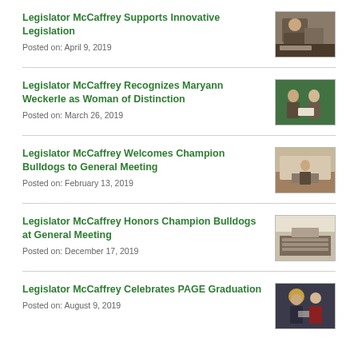Legislator McCaffrey Supports Innovative Legislation
Posted on: April 9, 2019
[Figure (photo): Photo of a man speaking at a podium or event]
Legislator McCaffrey Recognizes Maryann Weckerle as Woman of Distinction
Posted on: March 26, 2019
[Figure (photo): Photo of people in front of a green banner, holding a certificate]
Legislator McCaffrey Welcomes Champion Bulldogs to General Meeting
Posted on: February 13, 2019
[Figure (photo): Photo of a person holding a document in a meeting hall]
Legislator McCaffrey Honors Champion Bulldogs at General Meeting
Posted on: December 17, 2019
[Figure (photo): Photo of a group of people in a meeting room]
Legislator McCaffrey Celebrates PAGE Graduation
Posted on: August 9, 2019
[Figure (photo): Photo of two men in formal attire, one wearing a yellow turban]